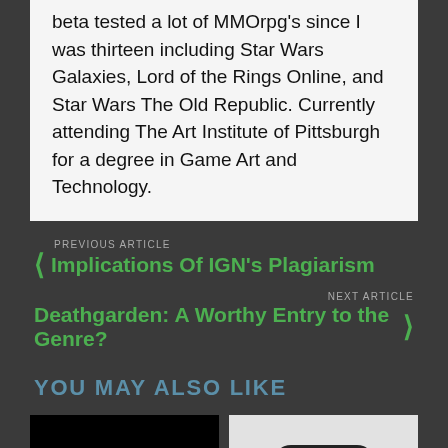beta tested a lot of MMOrpg's since I was thirteen including Star Wars Galaxies, Lord of the Rings Online, and Star Wars The Old Republic. Currently attending The Art Institute of Pittsburgh for a degree in Game Art and Technology.
PREVIOUS ARTICLE
Implications Of IGN's Plagiarism
NEXT ARTICLE
Deathgarden: A Worthy Entry to the Genre?
YOU MAY ALSO LIKE
[Figure (photo): Dark thumbnail image with yellow circular ring/logo element at bottom center]
[Figure (photo): Light background thumbnail showing hands holding a black game controller]